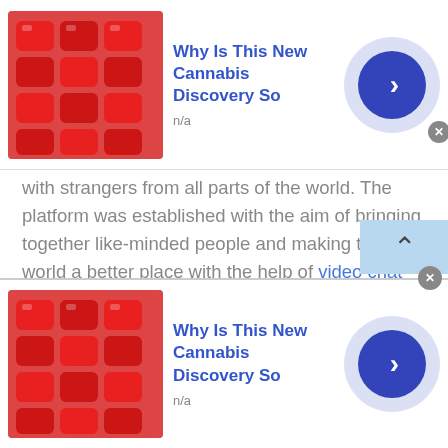[Figure (screenshot): Top advertisement banner: red gummy candy image on left, 'Why Is This New Cannabis Discovery So' title in blue bold text with 'n/a' subtitle, and a blue circular arrow button on the right with a gray close X button]
with strangers from all parts of the world. The platform was established with the aim of bringing together like-minded people and making the world a better place with the help of video chat and calls .
Since the possibility of face-to-face interactions has now become extremely limited, how do you meet new people? The era of sitting at a bar and chatting a stranger up has come to an end. Partly because of the pandemic but mostly because of the introduction of video conferencing applications that allow you to communicate with
[Figure (screenshot): Bottom advertisement banner: red gummy candy image on left, 'Why Is This New Cannabis Discovery So' title in blue bold text with 'n/a' subtitle, and a blue circular arrow button on the right with a gray close X button at top]